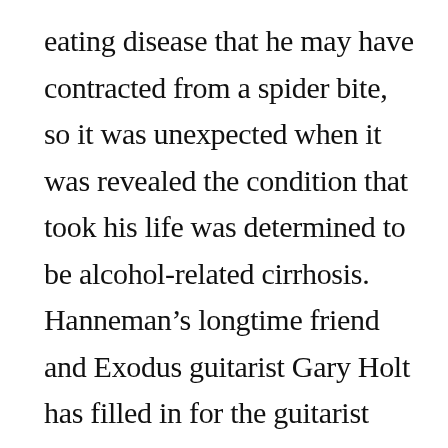eating disease that he may have contracted from a spider bite, so it was unexpected when it was revealed the condition that took his life was determined to be alcohol-related cirrhosis. Hanneman's longtime friend and Exodus guitarist Gary Holt has filled in for the guitarist since he first stopped touring.